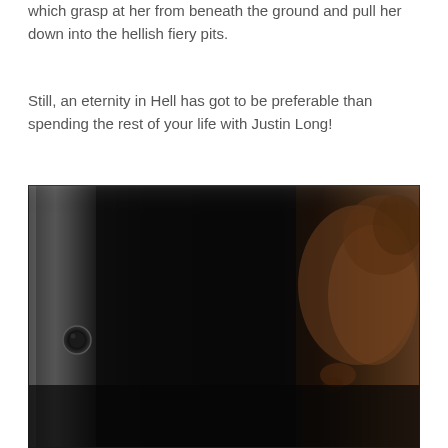which grasp at her from beneath the ground and pull her down into the hellish fiery pits.
Still, an eternity in Hell has got to be preferable than spending the rest of your life with Justin Long!
[Figure (photo): A dark, blurry close-up photograph showing the left side of the frame with dark panels/wall and the right portion showing a blurry human face in profile with brown hair against a dark background.]